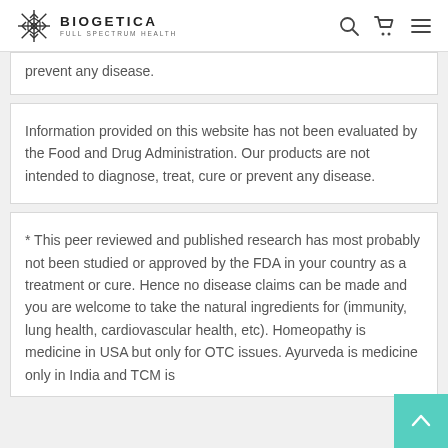BIOGETICA — FULL SPECTRUM HEALTH
prevent any disease.
Information provided on this website has not been evaluated by the Food and Drug Administration. Our products are not intended to diagnose, treat, cure or prevent any disease.
* This peer reviewed and published research has most probably not been studied or approved by the FDA in your country as a treatment or cure. Hence no disease claims can be made and you are welcome to take the natural ingredients for (immunity, lung health, cardiovascular health, etc). Homeopathy is medicine in USA but only for OTC issues. Ayurveda is medicine only in India and TCM is